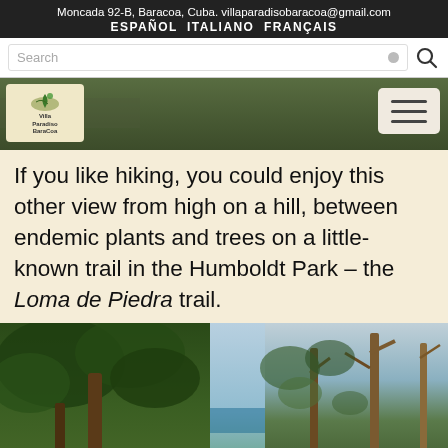Moncada 92-B, Baracoa, Cuba. villaparadisobaracoa@gmail.com
ESPAÑOL  ITALIANO  FRANÇAIS
If you like hiking, you could enjoy this other view from high on a hill, between endemic plants and trees on a little-known trail in the Humboldt Park – the Loma de Piedra trail.
[Figure (photo): Photograph of tropical forest trees with endemic plants, viewed from a hillside trail in Humboldt Park, Cuba. Shows dense green foliage on the left, blue sky and sea glimpse in the center, and bare/sparse trees on the right.]